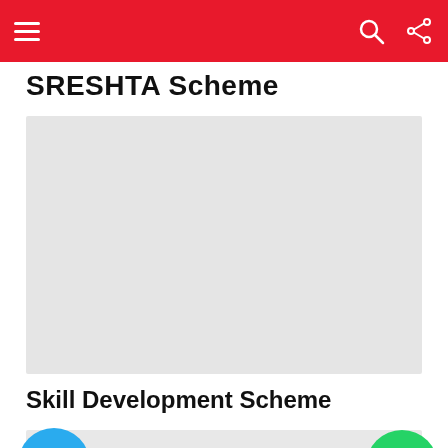Navigation bar with hamburger menu, search and share icons
SRESHTA Scheme
[Figure (photo): Large gray placeholder image area for SRESHTA Scheme article]
Skill Development Scheme
[Figure (photo): Partial gray placeholder image with Telegram and WhatsApp share buttons]